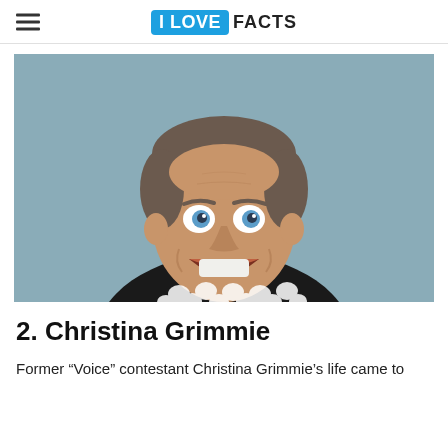I LOVE FACTS
[Figure (photo): A cheerful middle-aged man with short grey-brown hair, blue eyes, and an open wide smile, wearing a black sweater with white teardrop/triangle pattern, photographed against a light blue-grey background.]
2. Christina Grimmie
Former “Voice” contestant Christina Grimmie’s life came to